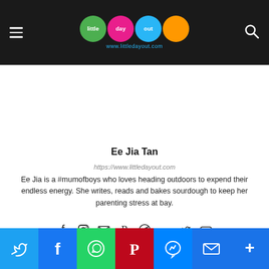Little Day Out — www.littledayout.com
Ee Jia Tan
https://www.littledayout.com
Ee Jia is a #mumofboys who loves heading outdoors to expend their endless energy. She writes, reads and bakes sourdough to keep her parenting stress at bay.
[Figure (infographic): Social media icons row: Facebook, Instagram, Email, Pinterest, Telegram, TikTok, Twitter, YouTube]
[Figure (infographic): Share bar with colored buttons: Twitter (blue), Facebook (blue), WhatsApp (green), Pinterest (red), Messenger (blue), Email (blue), More (blue)]